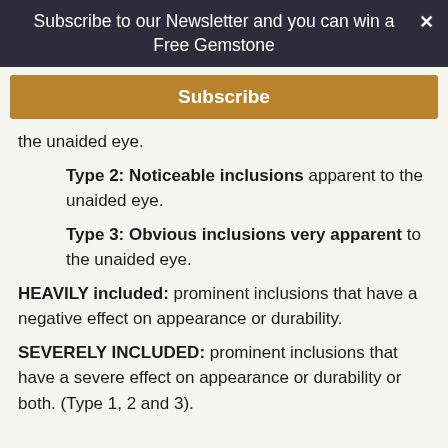Subscribe to our Newsletter and you can win a Free Gemstone ×
Subscribe
the unaided eye.
Type 2: Noticeable inclusions apparent to the unaided eye.
Type 3: Obvious inclusions very apparent to the unaided eye.
HEAVILY included: prominent inclusions that have a negative effect on appearance or durability.
SEVERELY INCLUDED: prominent inclusions that have a severe effect on appearance or durability or both. (Type 1, 2 and 3).